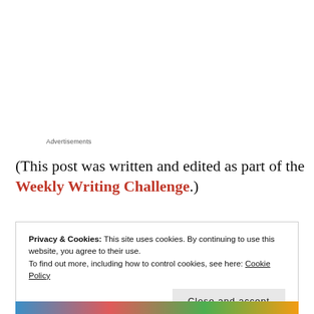Advertisements
(This post was written and edited as part of the Weekly Writing Challenge.)
Privacy & Cookies: This site uses cookies. By continuing to use this website, you agree to their use.
To find out more, including how to control cookies, see here: Cookie Policy
Close and accept
[Figure (photo): Colorful food/vegetables photo partially visible at bottom of page]